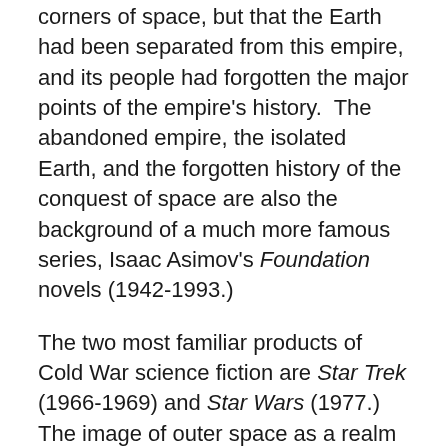corners of space, but that the Earth had been separated from this empire, and its people had forgotten the major points of the empire's history. The abandoned empire, the isolated Earth, and the forgotten history of the conquest of space are also the background of a much more famous series, Isaac Asimov's Foundation novels (1942-1993.)
The two most familiar products of Cold War science fiction are Star Trek (1966-1969) and Star Wars (1977.) The image of outer space as a realm of unkept promises figures in those as well.
The background of Star Wars is a fight, not to claim new territory or develop new settlements, but to restore the liberties of a lost Republic. We meet the hero, a young man unaware of his true parentage and his lofty destiny, in the grubby place of exile which he has grown up regarding as his home. Using battered ships, antique weapons, and